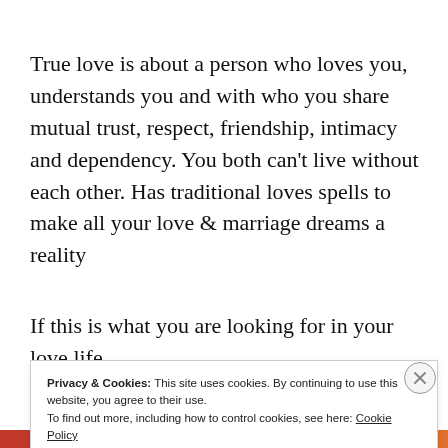True love is about a person who loves you, understands you and with who you share mutual trust, respect, friendship, intimacy and dependency. You both can’t live without each other. Has traditional loves spells to make all your love & marriage dreams a reality
If this is what you are looking for in your love life,
Privacy & Cookies: This site uses cookies. By continuing to use this website, you agree to their use.
To find out more, including how to control cookies, see here: Cookie Policy
[Close and accept]